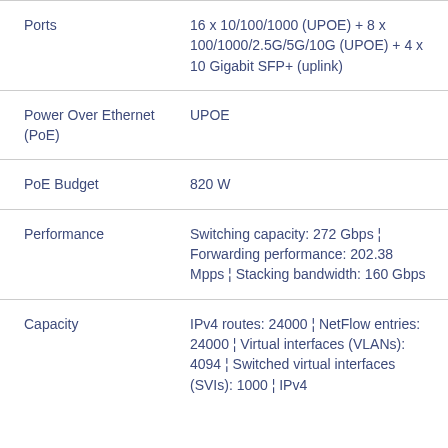| Feature | Value |
| --- | --- |
| Ports | 16 x 10/100/1000 (UPOE) + 8 x 100/1000/2.5G/5G/10G (UPOE) + 4 x 10 Gigabit SFP+ (uplink) |
| Power Over Ethernet (PoE) | UPOE |
| PoE Budget | 820 W |
| Performance | Switching capacity: 272 Gbps ¦ Forwarding performance: 202.38 Mpps ¦ Stacking bandwidth: 160 Gbps |
| Capacity | IPv4 routes: 24000 ¦ NetFlow entries: 24000 ¦ Virtual interfaces (VLANs): 4094 ¦ Switched virtual interfaces (SVIs): 1000 ¦ IPv4 |